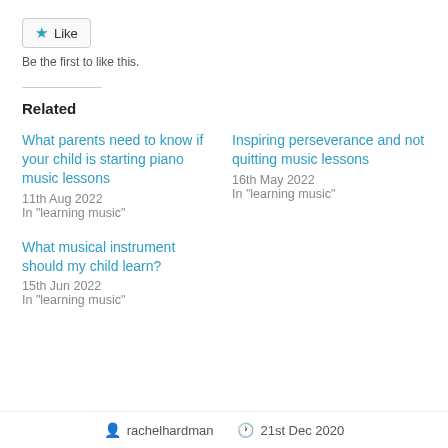[Figure (other): Like button with star icon]
Be the first to like this.
Related
What parents need to know if your child is starting piano music lessons
11th Aug 2022
In "learning music"
Inspiring perseverance and not quitting music lessons
16th May 2022
In "learning music"
What musical instrument should my child learn?
15th Jun 2022
In "learning music"
rachelhardman  21st Dec 2020